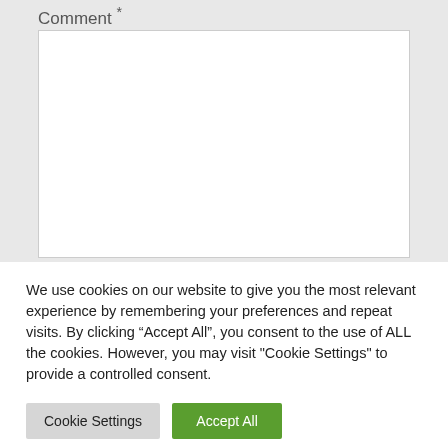Comment *
[Figure (screenshot): Empty white comment text area input box]
We use cookies on our website to give you the most relevant experience by remembering your preferences and repeat visits. By clicking “Accept All”, you consent to the use of ALL the cookies. However, you may visit "Cookie Settings" to provide a controlled consent.
Cookie Settings
Accept All